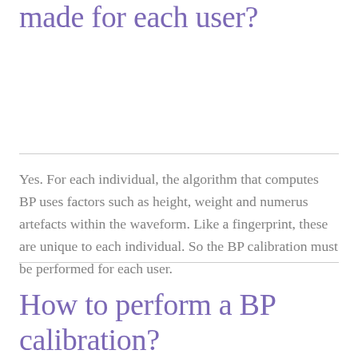Should BP calibration be made for each user?
Yes. For each individual, the algorithm that computes BP uses factors such as height, weight and numerus artefacts within the waveform. Like a fingerprint, these are unique to each individual. So the BP calibration must be performed for each user.
How to perform a BP calibration?